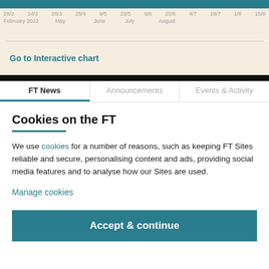[Figure (continuous-plot): Teal area/line chart showing time series from February 2022 to August, with x-axis date labels: 28/2, 14/3, 28/3, 25/4, 9/5, 23/5, 6/6, 20/6, 4/7, 18/7, 1/8, 15/8 and month labels February 2022, May, June, July, August]
Go to Interactive chart
| FT News | Announcements | Events & Activity |
| --- | --- | --- |
Cookies on the FT
We use cookies for a number of reasons, such as keeping FT Sites reliable and secure, personalising content and ads, providing social media features and to analyse how our Sites are used.
Manage cookies
Accept & continue